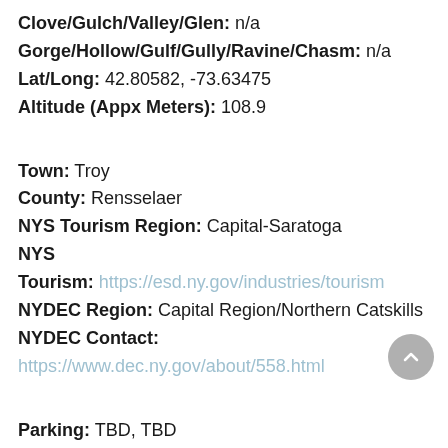Clove/Gulch/Valley/Glen: n/a
Gorge/Hollow/Gulf/Gully/Ravine/Chasm: n/a
Lat/Long: 42.80582, -73.63475
Altitude (Appx Meters): 108.9
Town: Troy
County: Rensselaer
NYS Tourism Region: Capital-Saratoga
NYS
Tourism: https://esd.ny.gov/industries/tourism
NYDEC Region: Capital Region/Northern Catskills
NYDEC Contact:
https://www.dec.ny.gov/about/558.html
Parking: TBD, TBD
Parking Notes: .....
Trail head: TBD, TBD